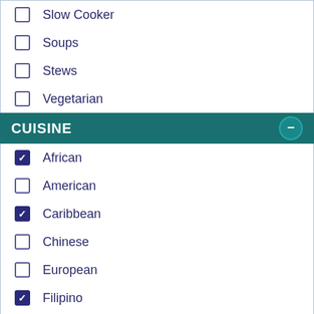Slow Cooker
Soups
Stews
Vegetarian
CUISINE
African (checked)
American
Caribbean (checked)
Chinese
European
Filipino (checked)
French
Greek
Hawaiian